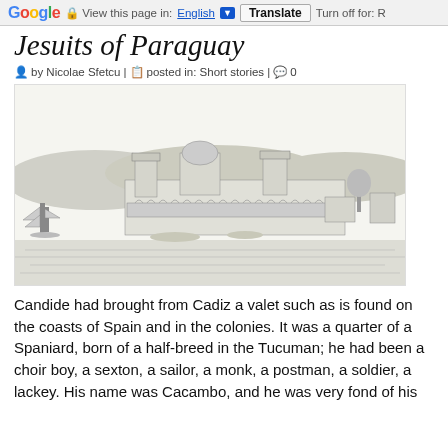Google | View this page in: English | Translate | Turn off for: R
Jesuits of Paraguay
by Nicolae Sfetcu | posted in: Short stories | 0
[Figure (illustration): Historical engraving/sketch of a Jesuit mission settlement in Paraguay, showing buildings with towers and domes along a waterfront, with a sailing ship on the left and hills in the background.]
Candide had brought from Cadiz a valet such as is found on the coasts of Spain and in the colonies. It was a quarter of a Spaniard, born of a half-breed in the Tucuman; he had been a choir boy, a sexton, a sailor, a monk, a postman, a soldier, a lackey. His name was Cacambo, and he was very fond of his